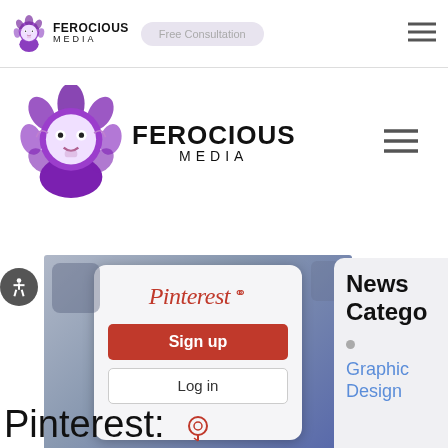[Figure (screenshot): Ferocious Media website top navigation bar with logo, Free Consultation button, and hamburger menu]
[Figure (logo): Ferocious Media lion logo with FEROCIOUS MEDIA text and hamburger menu on main header]
[Figure (photo): Pinterest app login screen showing Pinterest logo, Sign up button in red, Log in option, and Pinterest icon]
News Catego
Graphic Design
Pinterest: